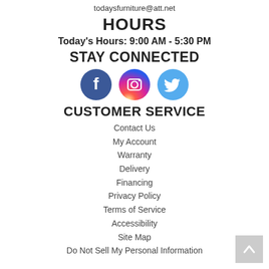todaysfurniture@att.net
HOURS
Today's Hours: 9:00 AM - 5:30 PM
STAY CONNECTED
[Figure (illustration): Three social media icons: Facebook (blue circle with white f), Instagram (gradient pink/purple circle with camera icon), Twitter (light blue circle with white bird)]
CUSTOMER SERVICE
Contact Us
My Account
Warranty
Delivery
Financing
Privacy Policy
Terms of Service
Accessibility
Site Map
Do Not Sell My Personal Information